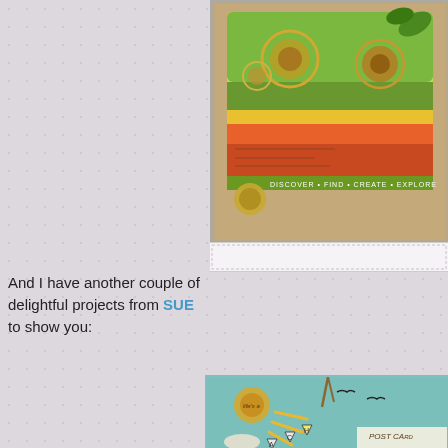[Figure (photo): Colorful mixed-media craft card with steampunk/botanical elements, compass, gears, green and orange colors on kraft background]
And I have another couple of delightful projects from SUE to show you:
[Figure (photo): Decorative gift tag with teal/aqua background, sun with rays, bunting letters B E A C H, bird silhouettes, figure with parasol, vintage postcard element, twine at top]